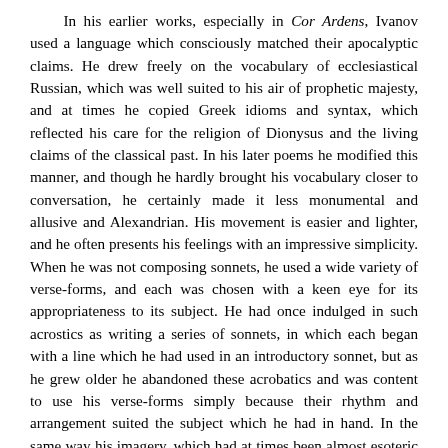In his earlier works, especially in Cor Ardens, Ivanov used a language which consciously matched their apocalyptic claims. He drew freely on the vocabulary of ecclesiastical Russian, which was well suited to his air of prophetic majesty, and at times he copied Greek idioms and syntax, which reflected his care for the religion of Dionysus and the living claims of the classical past. In his later poems he modified this manner, and though he hardly brought his vocabulary closer to conversation, he certainly made it less monumental and allusive and Alexandrian. His movement is easier and lighter, and he often presents his feelings with an impressive simplicity. When he was not composing sonnets, he used a wide variety of verse-forms, and each was chosen with a keen eye for its appropriateness to its subject. He had once indulged in such acrostics as writing a series of sonnets, in which each began with a line which he had used in an introductory sonnet, but as he grew older he abandoned these acrobatics and was content to use his verse-forms simply because their rhythm and arrangement suited the subject which he had in hand. In the same way his imagery, which had at times been almost esoteric in its brilliance, became less ambitious and more human. Indeed, though Ivanov's later poetry